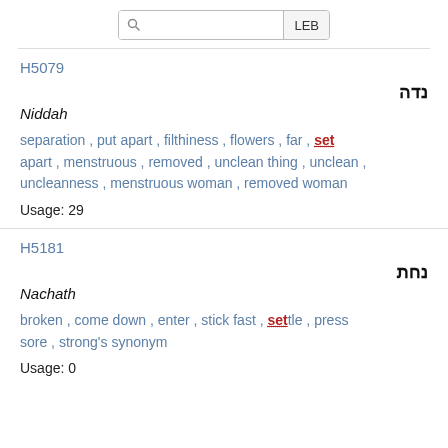LEB
H5079
נדה
Niddah
separation , put apart , filthiness , flowers , far , set apart , menstruous , removed , unclean thing , unclean , uncleanness , menstruous woman , removed woman
Usage: 29
H5181
נחת
Nachath
broken , come down , enter , stick fast , settle , press sore , strong's synonym
Usage: 0